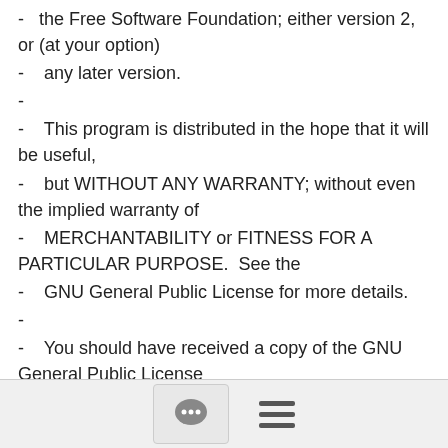-   the Free Software Foundation; either version 2, or (at your option)
-   any later version.
-
-   This program is distributed in the hope that it will be useful,
-   but WITHOUT ANY WARRANTY; without even the implied warranty of
-   MERCHANTABILITY or FITNESS FOR A PARTICULAR PURPOSE.  See the
-   GNU General Public License for more details.
-
-   You should have received a copy of the GNU General Public License
-   along with this program; if not, write to the Free Software Foundation,
-   Inc., 59 Temple Place - Suite 330, Boston, MA 02111-1307, USA.  */
+* SPDX-License-Identifier: GPL-2.0-or-later
+*/
[Figure (other): Footer navigation bar with a chat bubble icon button and a hamburger menu icon]